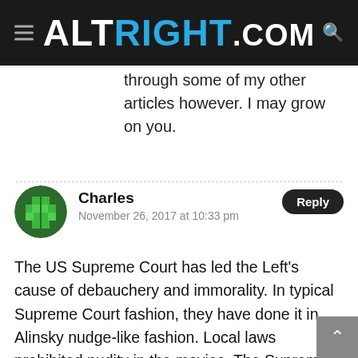ALTRIGHT.COM
through some of my other articles however. I may grow on you.
Charles
November 26, 2017 at 10:33 pm
The US Supreme Court has led the Left's cause of debauchery and immorality. In typical Supreme Court fashion, they have done it in Alinsky nudge-like fashion. Local laws prohibited nudity in the movies. The Supreme Court said Ann Margaret could show the side of her boob. Local laws said newspapers cannot lie. The Supreme Court said they can publish lies. Local laws made sodomy criminal. The Supreme Court said we must to go to jail if